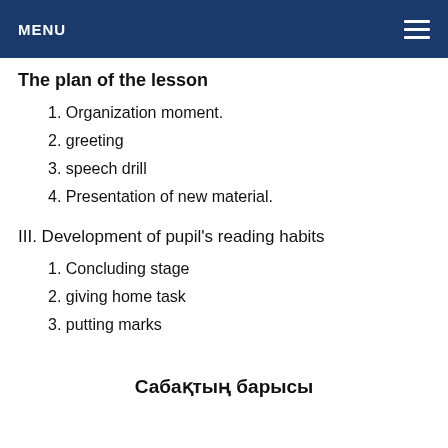MENU
The plan of the lesson
1. Organization moment.
2. greeting
3. speech drill
4. Presentation of new material.
III. Development of pupil's reading habits
1. Concluding stage
2. giving home task
3. putting marks
Сабақтың барысы